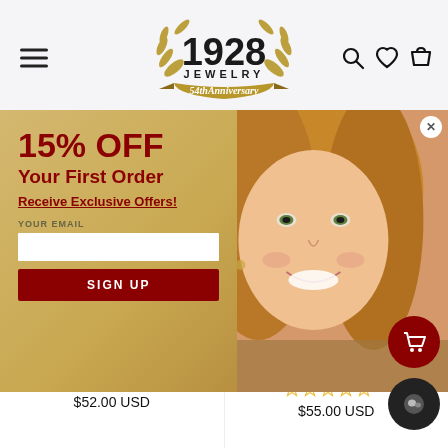1928 JEWELRY 54thAnniversary — navigation header with hamburger menu, logo, and icons for search, wishlist, and cart
[Figure (infographic): Promotional modal overlay showing a smiling blonde woman wearing gold earrings on the right half, and on the left half a gold-tan background with red bold text '15% OFF Your First Order', underlined link 'Receive Exclusive Offers!', an email input field labeled 'YOUR EMAIL', and a dark red 'SIGN UP' button. A close (X) button appears in the top-right corner of the modal. The modal has a periwinkle/lavender border.]
Double Cat Chain Bracelet
☆☆☆☆☆ 0 review
$52.00 USD
Double Cat Double Necklace 16" + 3" Extender
☆☆☆☆☆ 0 review
$55.00 USD